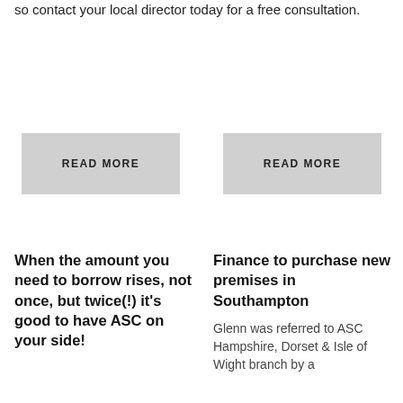so contact your local director today for a free consultation.
[Figure (other): READ MORE button (left)]
[Figure (other): READ MORE button (right)]
When the amount you need to borrow rises, not once, but twice(!) it's good to have ASC on your side!
Finance to purchase new premises in Southampton
Glenn was referred to ASC Hampshire, Dorset & Isle of Wight branch by a